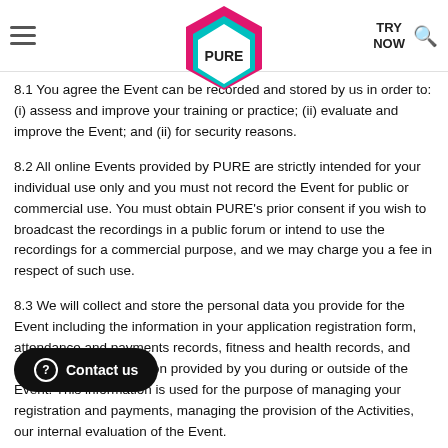PURE — TRY NOW
8.1 You agree the Event can be recorded and stored by us in order to: (i) assess and improve your training or practice; (ii) evaluate and improve the Event; and (ii) for security reasons.
8.2 All online Events provided by PURE are strictly intended for your individual use only and you must not record the Event for public or commercial use. You must obtain PURE's prior consent if you wish to broadcast the recordings in a public forum or intend to use the recordings for a commercial purpose, and we may charge you a fee in respect of such use.
8.3 We will collect and store the personal data you provide for the Event including the information in your application registration form, attendance and payments records, fitness and health records, and other relevant information provided by you during or outside of the Event. This information is used for the purpose of managing your registration and payments, managing the provision of the Activities, our internal evaluation of the Event.
8.4 The personal data we collect from you shall be kept confidential and will only be shared by third parties involved in the provision of the Event (such as contractors who provide administrative, technology…